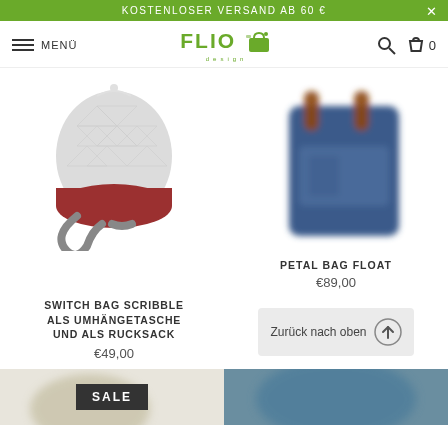KOSTENLOSER VERSAND AB 60 €
MENÜ | FLIO design | 0
[Figure (photo): Gray drawstring bag with geometric pattern and red bottom, gray shoulder strap — Switch Bag Scribble product photo]
[Figure (photo): Blue backpack/tote bag with orange straps — Petal Bag Float product photo (blurred)]
SWITCH BAG SCRIBBLE ALS UMHÄNGETASCHE UND ALS RUCKSACK
€49,00
PETAL BAG FLOAT
€89,00
Zurück nach oben
[Figure (photo): Partial product image bottom left (blurred, light color bag)]
SALE
[Figure (photo): Partial product image bottom right (blurred, blue/teal color)]